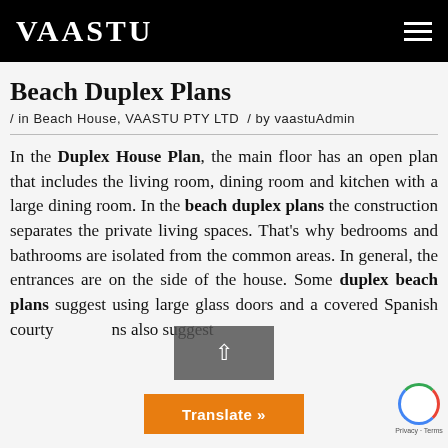VAASTU
Beach Duplex Plans
/ in Beach House, VAASTU PTY LTD  / by vaastuAdmin
In the Duplex House Plan, the main floor has an open plan that includes the living room, dining room and kitchen with a large dining room. In the beach duplex plans the construction separates the private living spaces. That's why bedrooms and bathrooms are isolated from the common areas. In general, the entrances are on the side of the house. Some duplex beach plans suggest using large glass doors and a covered Spanish courtyards also suggest